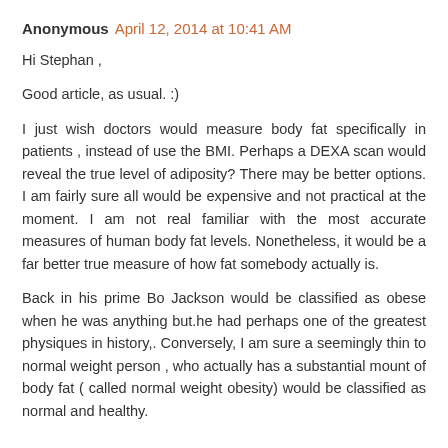Anonymous April 12, 2014 at 10:41 AM
Hi Stephan ,
Good article, as usual. :)
I just wish doctors would measure body fat specifically in patients , instead of use the BMI. Perhaps a DEXA scan would reveal the true level of adiposity? There may be better options. I am fairly sure all would be expensive and not practical at the moment. I am not real familiar with the most accurate measures of human body fat levels. Nonetheless, it would be a far better true measure of how fat somebody actually is.
Back in his prime Bo Jackson would be classified as obese when he was anything but.he had perhaps one of the greatest physiques in history,. Conversely, I am sure a seemingly thin to normal weight person , who actually has a substantial mount of body fat ( called normal weight obesity) would be classified as normal and healthy.